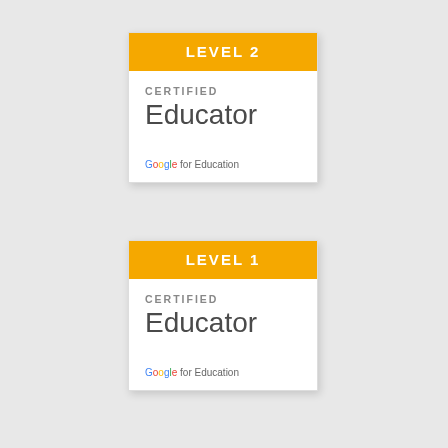[Figure (illustration): Google for Education Certified Educator Level 2 badge. Gold/yellow header with white text 'LEVEL 2', white body with 'CERTIFIED Educator' text and Google for Education logo.]
[Figure (illustration): Google for Education Certified Educator Level 1 badge. Gold/yellow header with white text 'LEVEL 1', white body with 'CERTIFIED Educator' text and Google for Education logo.]